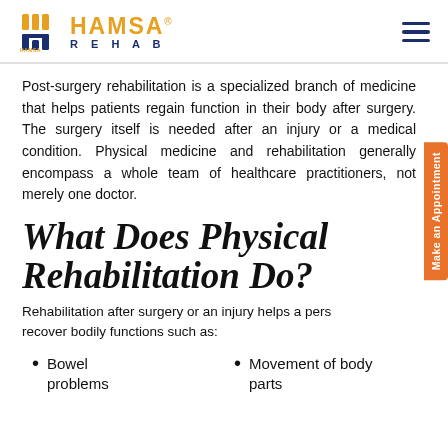HAMSA REHAB
Post-surgery rehabilitation is a specialized branch of medicine that helps patients regain function in their body after surgery. The surgery itself is needed after an injury or a medical condition. Physical medicine and rehabilitation generally encompass a whole team of healthcare practitioners, not merely one doctor.
What Does Physical Rehabilitation Do?
Rehabilitation after surgery or an injury helps a person recover bodily functions such as:
Bowel problems
Movement of body parts